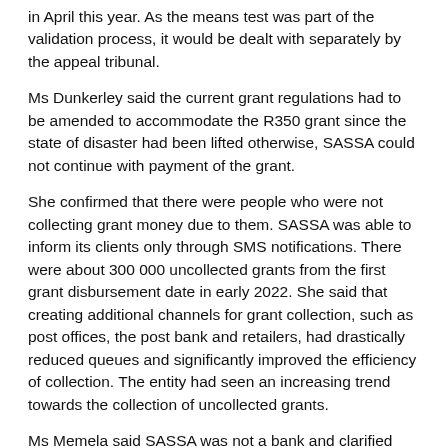in April this year. As the means test was part of the validation process, it would be dealt with separately by the appeal tribunal.
Ms Dunkerley said the current grant regulations had to be amended to accommodate the R350 grant since the state of disaster had been lifted otherwise, SASSA could not continue with payment of the grant.
She confirmed that there were people who were not collecting grant money due to them. SASSA was able to inform its clients only through SMS notifications. There were about 300 000 uncollected grants from the first grant disbursement date in early 2022. She said that creating additional channels for grant collection, such as post offices, the post bank and retailers, had drastically reduced queues and significantly improved the efficiency of collection. The entity had seen an increasing trend towards the collection of uncollected grants.
Ms Memela said SASSA was not a bank and clarified that the bank system which is used belonged to SAPO and post bank. People's misconception around that emanated from SASSA's brand image on the card.
Commenting on the organisational design change, she said there were programmes to train leaders in order to provide